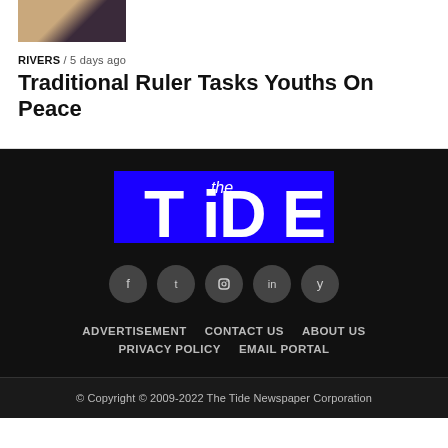[Figure (photo): Partial photo of a person wearing a floral/patterned garment, cropped at top]
RIVERS / 5 days ago
Traditional Ruler Tasks Youths On Peace
[Figure (logo): The Tide newspaper logo — white bold serif text on blue background]
[Figure (infographic): Five social media icon circles (dark gray) with white icons]
ADVERTISEMENT   CONTACT US   ABOUT US
PRIVACY POLICY   EMAIL PORTAL
© Copyright © 2009-2022 The Tide Newspaper Corporation